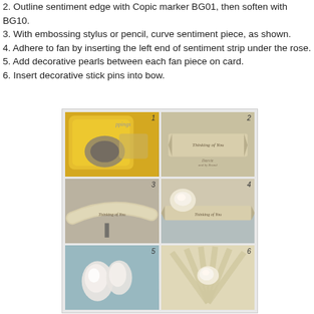2. Outline sentiment edge with Copic marker BG01, then soften with BG10.
3. With embossing stylus or pencil, curve sentiment piece, as shown.
4. Adhere to fan by inserting the left end of sentiment strip under the rose.
5. Add decorative pearls between each fan piece on card.
6. Insert decorative stick pins into bow.
[Figure (photo): A 2x3 grid of step-by-step craft photos numbered 1-6 showing: 1) yellow punch tool, 2) 'Thinking of You' banner tag on kraft background, 3) curved 'Thinking of You' banner strip, 4) banner adhered to fan with rose, 5) white pearl decorative elements, 6) completed fan card with bow]